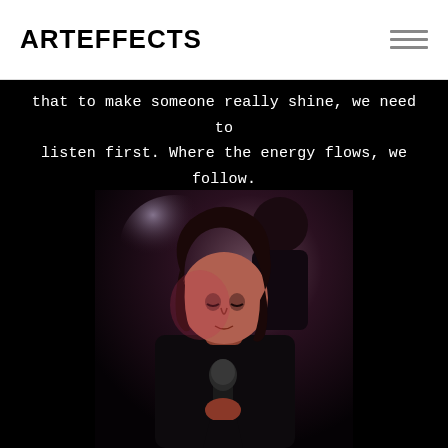ARTEFFECTS
that to make someone really shine, we need to listen first. Where the energy flows, we follow.
[Figure (photo): A man with dark shoulder-length hair holding a microphone, photographed in a dark concert/stage setting. A second person is partially visible in the background.]